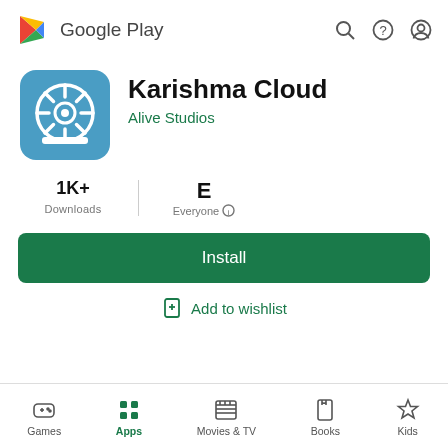[Figure (screenshot): Google Play Store header with logo (colorful triangle play icon) and 'Google Play' text, plus search, help, and account icons on the right]
[Figure (logo): Karishma Cloud app icon - blue rounded square with a film reel / wheel graphic in white]
Karishma Cloud
Alive Studios
1K+
Downloads
E
Everyone
Install
Add to wishlist
Games  Apps  Movies & TV  Books  Kids